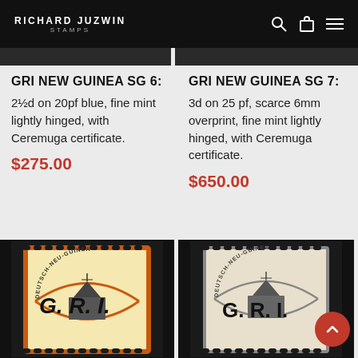RICHARD JUZWIN STAMPS
GRI NEW GUINEA SG 6:
2½d on 20pf blue, fine mint lightly hinged, with Ceremuga certificate.
$275.00
GRI NEW GUINEA SG 7:
3d on 25 pf, scarce 6mm overprint, fine mint lightly hinged, with Ceremuga certificate.
$650.00
[Figure (photo): Deutsch-Neu-Guinea stamp with G.R.I. overprint, orange border, ship design]
[Figure (photo): Deutsch-Neu-Guinea stamp with G.R.I. overprint, grey/black, ship design]